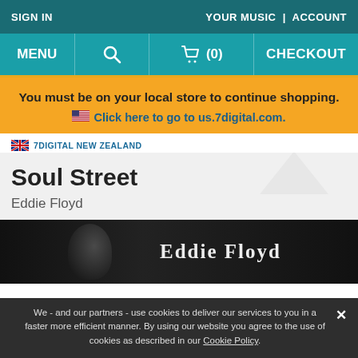SIGN IN | YOUR MUSIC | ACCOUNT
MENU | [search] | [cart] (0) | CHECKOUT
You must be on your local store to continue shopping.
🇺🇸 Click here to go to us.7digital.com.
🇳🇿 7DIGITAL NEW ZEALAND
Soul Street
Eddie Floyd
[Figure (photo): Album cover image for Soul Street by Eddie Floyd — dark background with 'Eddie Floyd' text visible on the right side]
We - and our partners - use cookies to deliver our services to you in a faster more efficient manner. By using our website you agree to the use of cookies as described in our Cookie Policy.